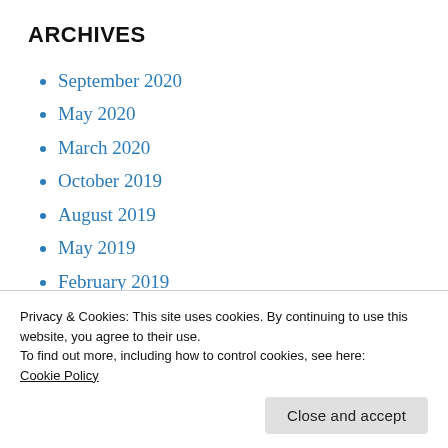ARCHIVES
September 2020
May 2020
March 2020
October 2019
August 2019
May 2019
February 2019
November 2018
October 2018
October 2017
Privacy & Cookies: This site uses cookies. By continuing to use this website, you agree to their use.
To find out more, including how to control cookies, see here: Cookie Policy
Close and accept